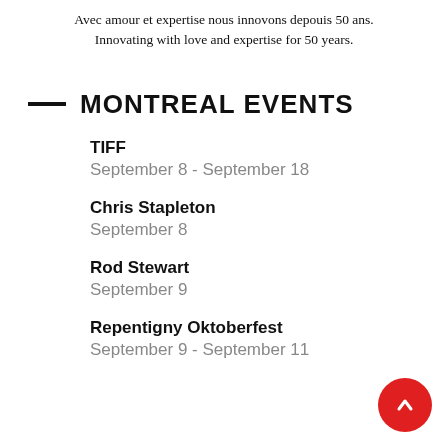Avec amour et expertise nous innovons depouis 50 ans. Innovating with love and expertise for 50 years.
MONTREAL EVENTS
TIFF
September 8 - September 18
Chris Stapleton
September 8
Rod Stewart
September 9
Repentigny Oktoberfest
September 9 - September 11